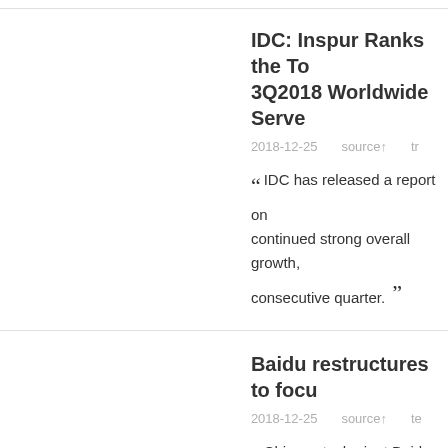IDC: Inspur Ranks the Top 3 in 3Q2018 Worldwide Serve
2018-12-25   source↑   tr
“ IDC has released a report on continued strong overall growth, consecutive quarter. ”
Baidu restructures to focu
2018-12-25   source↑   te
“ Chinese tech giant Baidu plar improvement and raise its stake